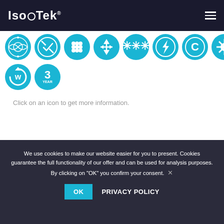IsoTek
[Figure (infographic): Two rows of teal/cyan circular icons representing product features: row 1 has 8 icons (cable mesh, EMI filter/cross, grid pattern, directional arrows, stars/asterisks, lightning bolt, letter C, snowflake/gear), row 2 has 2 icons (W circular arrow, 3 year warranty badge)]
Click on an icon to get more information.
We use cookies to make our website easier for you to present. Cookies guarantee the full functionality of our offer and can be used for analysis purposes. By clicking on "OK" you confirm your consent.
OK   PRIVACY POLICY